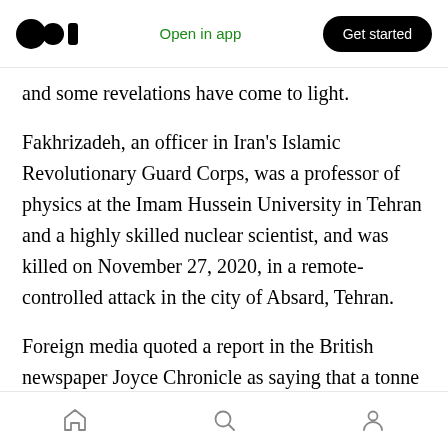Medium logo | Open in app | Get started
and some revelations have come to light.
Fakhrizadeh, an officer in Iran's Islamic Revolutionary Guard Corps, was a professor of physics at the Imam Hussein University in Tehran and a highly skilled nuclear scientist, and was killed on November 27, 2020, in a remote-controlled attack in the city of Absard, Tehran.
Foreign media quoted a report in the British newspaper Joyce Chronicle as saying that a tonne of weapons was used in the operation to assassinate Fakhrizada, which was divided into
Home | Search | Profile